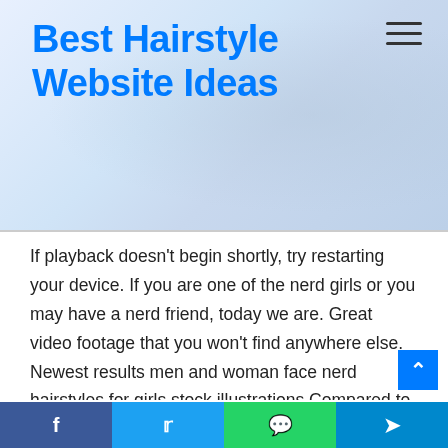Best Hairstyle Website Ideas
If playback doesn't begin shortly, try restarting your device. If you are one of the nerd girls or you may have a nerd friend, today we are. Great video footage that you won't find anywhere else. Newest results men and woman face nerd hairstyles for girls stock illustrations Compared to the previous haircut, this one is more attractive. Smaller square glasses go great with pushed back hairstyles. This whole look will be stunning on men with sharp facial features. Posted by steve landry february 9,. Aelynn (@aelynnnikole), libni (@eggrole00), helen elizabeth (@helenelizabeth91).
f  t  [WhatsApp icon]  [Telegram icon]